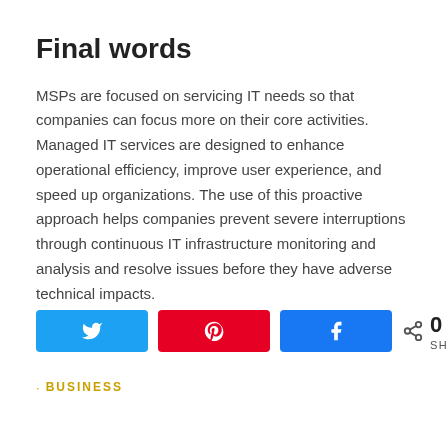Final words
MSPs are focused on servicing IT needs so that companies can focus more on their core activities. Managed IT services are designed to enhance operational efficiency, improve user experience, and speed up organizations. The use of this proactive approach helps companies prevent severe interruptions through continuous IT infrastructure monitoring and analysis and resolve issues before they have adverse technical impacts.
[Figure (infographic): Social share buttons row: Twitter (blue), Pinterest (red), Facebook (blue), share count showing 0 SHARES]
· BUSINESS